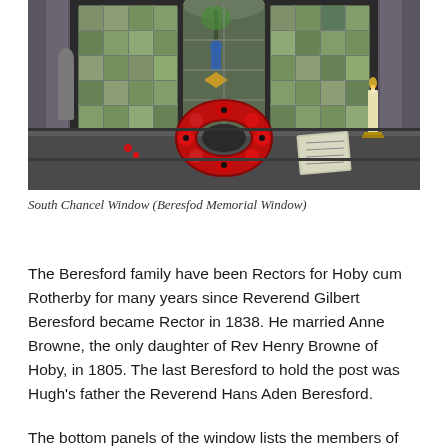[Figure (photo): Interior of a church showing stained glass windows with memorial panels and a red poppy wreath placed on a stone ledge, with a candle and book visible on the right side.]
South Chancel Window (Beresfod Memorial Window)
The Beresford family have been Rectors for Hoby cum Rotherby for many years since Reverend Gilbert Beresford became Rector in 1838. He married Anne Browne, the only daughter of Rev Henry Browne of Hoby, in 1805. The last Beresford to hold the post was Hugh's father the Reverend Hans Aden Beresford.
The bottom panels of the window lists the members of